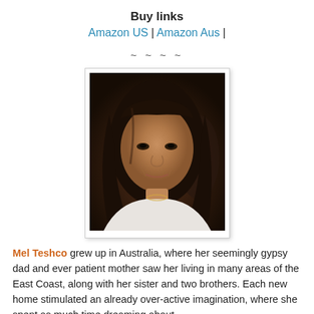Buy links
Amazon US | Amazon Aus |
~ ~ ~ ~
[Figure (photo): Portrait photograph of Mel Teshco, a woman with dark shoulder-length hair, in a white top, with another person visible in the background.]
Mel Teshco grew up in Australia, where her seemingly gypsy dad and ever patient mother saw her living in many areas of the East Coast, along with her sister and two brothers. Each new home stimulated an already over-active imagination, where she spent as much time dreaming about